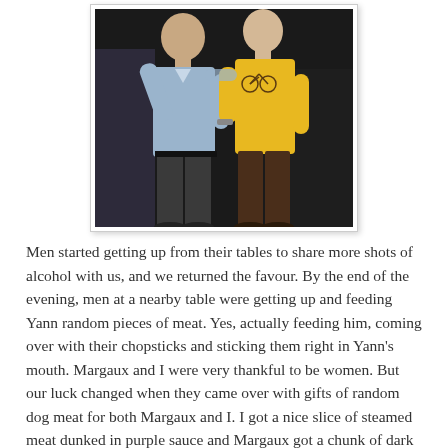[Figure (photo): Two men posing together for a photo. The man on the left wears a light blue shirt and dark trousers. The man on the right wears a yellow t-shirt with a bicycle graphic and brown trousers. Dark background.]
Men started getting up from their tables to share more shots of alcohol with us, and we returned the favour. By the end of the evening, men at a nearby table were getting up and feeding Yann random pieces of meat. Yes, actually feeding him, coming over with their chopsticks and sticking them right in Yann's mouth. Margaux and I were very thankful to be women. But our luck changed when they came over with gifts of random dog meat for both Margaux and I. I got a nice slice of steamed meat dunked in purple sauce and Margaux got a chunk of dark brown sausage. I am embarassed to say that I couldn't get mine down, and when the opportunity